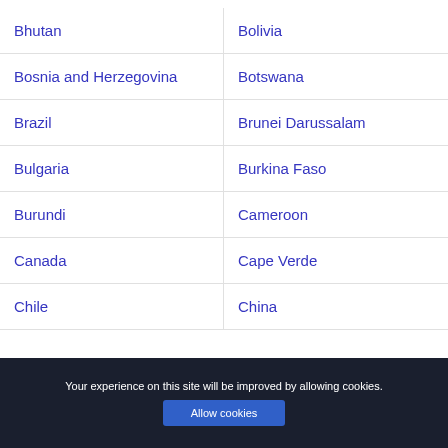Bhutan
Bolivia
Bosnia and Herzegovina
Botswana
Brazil
Brunei Darussalam
Bulgaria
Burkina Faso
Burundi
Cameroon
Canada
Cape Verde
Chile
China
Your experience on this site will be improved by allowing cookies.